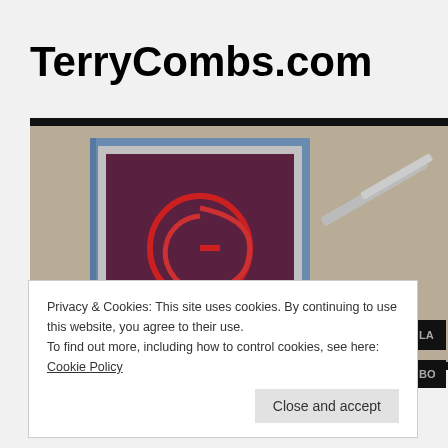TerryCombs.com
[Figure (photo): A screen printing machine with a blue-framed screen showing a red spiral logo, with a metal arm extending to the right, against a beige/tan background.]
Privacy & Cookies: This site uses cookies. By continuing to use this website, you agree to their use.
To find out more, including how to control cookies, see here: Cookie Policy
Close and accept